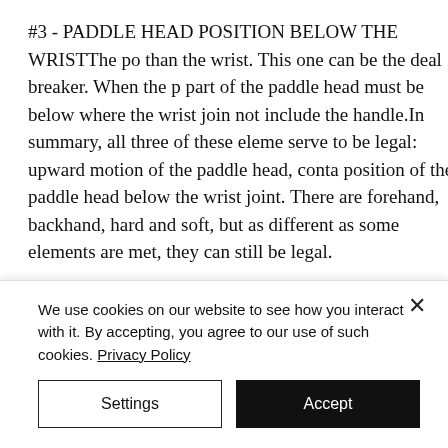#3 - PADDLE HEAD POSITION BELOW THE WRISTThe po than the wrist. This one can be the deal breaker. When the p part of the paddle head must be below where the wrist join not include the handle.In summary, all three of these eleme serve to be legal: upward motion of the paddle head, conta position of the paddle head below the wrist joint. There are forehand, backhand, hard and soft, but as different as some elements are met, they can still be legal.
SUMMARY - ALL THREE MUST BE MET
That's your Pickleball 411 for today. We really hope this has
We use cookies on our website to see how you interact with it. By accepting, you agree to our use of such cookies. Privacy Policy